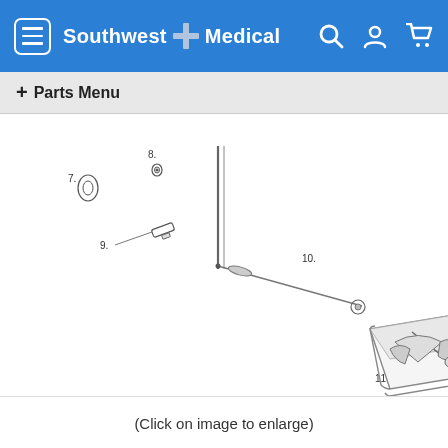Southwest Medical
+ Parts Menu
[Figure (engineering-diagram): Exploded parts diagram showing numbered components 7 through 13 of a medical device assembly. Components include washers/rings (7, 8), a small part (9), a long rod/bar (10), a base platform (11), a cross-shaped bracket (12), and a vertical pin (13).]
(Click on image to enlarge)